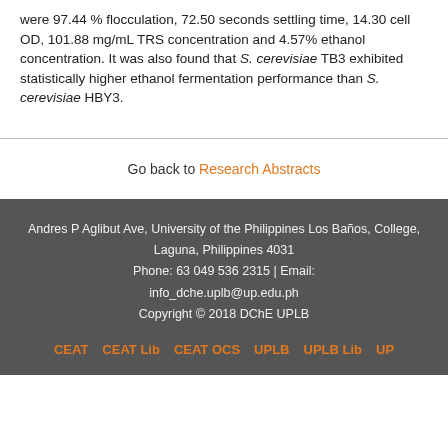were 97.44 % flocculation, 72.50 seconds settling time, 14.30 cell OD, 101.88 mg/mL TRS concentration and 4.57% ethanol concentration. It was also found that S. cerevisiae TB3 exhibited statistically higher ethanol fermentation performance than S. cerevisiae HBY3.
Go back to Research Abstracts
Andres P Aglibut Ave, University of the Philippines Los Baños, College, Laguna, Philippines 4031
Phone: 63 049 536 2315 | Email: info_dche.uplb@up.edu.ph
Copyright © 2018 DChE UPLB
CEAT | CEAT Lib | CEAT OCS | UPLB | UPLB Lib | UP